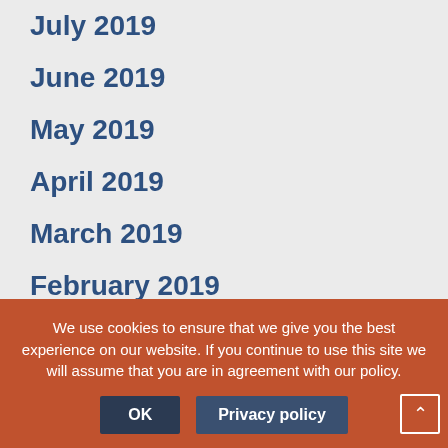July 2019
June 2019
May 2019
April 2019
March 2019
February 2019
January 2019
December 2018
November 2018
October 2018
September 2018
August 2018
July 2018
June 2018
May 2018
We use cookies to ensure that we give you the best experience on our website. If you continue to use this site we will assume that you are in agreement with our policy.